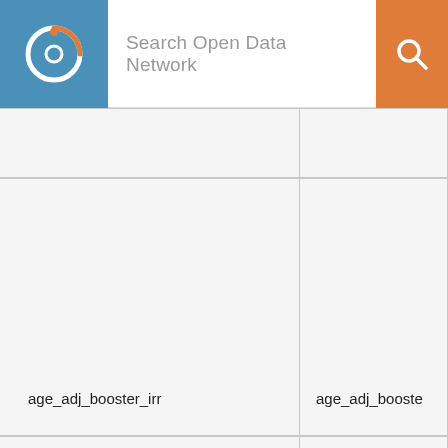Search Open Data Network
|  |  |
| age_adj_booster_irr | age_adj_booste |
| age_adj_irr |  |